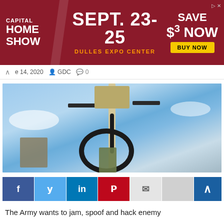[Figure (other): Capital Home Show advertisement banner: SEPT. 23-25, DULLES EXPO CENTER, SAVE $3 NOW, BUY NOW button]
e 14, 2020  GDC  0
[Figure (photo): Military soldier working on a tall electronic warfare equipment tower with coiled cables and antennas against a blue sky with clouds]
[Figure (other): Social media share buttons: Facebook, Twitter, LinkedIn, Pinterest, Email, and scroll-to-top button]
The Army wants to jam, spoof and hack enemy